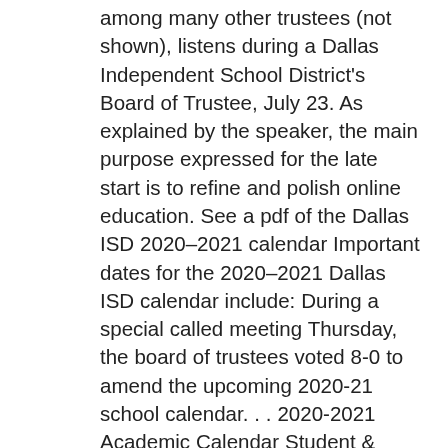among many other trustees (not shown), listens during a Dallas Independent School District's Board of Trustee, July 23. As explained by the speaker, the main purpose expressed for the late start is to refine and polish online education. See a pdf of the Dallas ISD 2020–2021 calendar Important dates for the 2020–2021 Dallas ISD calendar include: During a special called meeting Thursday, the board of trustees voted 8-0 to amend the upcoming 2020-21 school calendar. . . 2020-2021 Academic Calendar Student & Staff Holiday Staff Development/Work Day/ Student Holiday Early Release Students & Staff Nov 20, Dec 18 and March 5 Grading Period Ends Bad Weather Make-Up Days January 4 & February 15 Early Release Students May 21 First Day of Semester Staff Development Trade Day/ Student Holiday Important Dates Aug 3-11 ..... Staff Development/Work . . . Department Directory; School Networks; Maintenance and Facilities; Staff